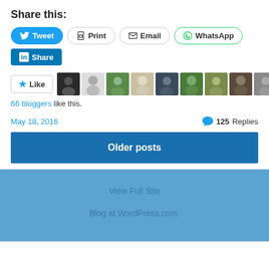Share this:
Tweet | Print | Email | WhatsApp | Share
[Figure (infographic): Like button with star icon followed by 11 blogger avatar thumbnails]
66 bloggers like this.
May 18, 2016    125 Replies
Older posts
View Full Site
Blog at WordPress.com.